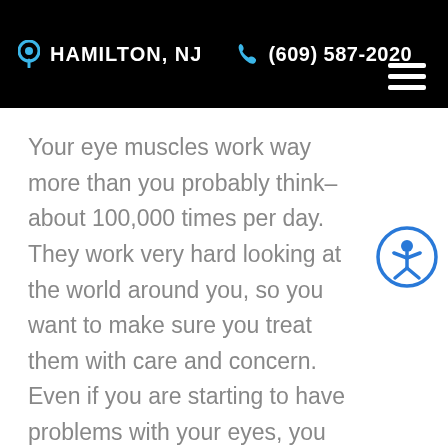HAMILTON, NJ  (609) 587-2020
Your eye muscles work way more than you probably think– about 100,000 times per day. They work very hard looking at the world around you, so you want to make sure you treat them with care and concern. Even if you are starting to have problems with your eyes, you can still follow a few steps that will protect your vision and stop it from